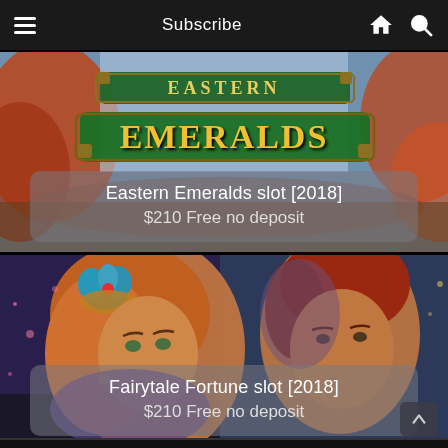Subscribe
[Figure (illustration): Eastern Emeralds slot game promotional image with gold and green logo text on ornate background with red and orange foliage]
Eastern Emeralds slot [2018]
$210 Free no deposit
[Figure (illustration): Fairytale Fortune slot game promotional image featuring a woman with floral headdress and a man with red hair against a fantasy background]
Fairytale Fortune slot [2018]
$210 Free no deposit